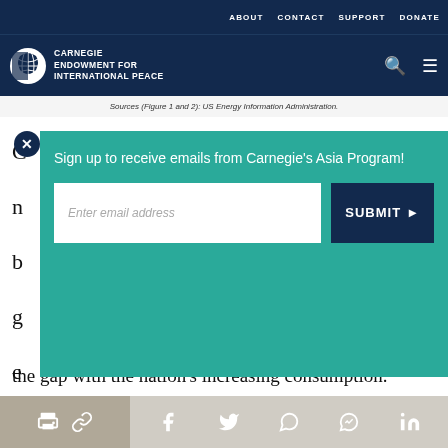ABOUT   CONTACT   SUPPORT   DONATE
[Figure (logo): Carnegie Endowment for International Peace logo with globe icon and navigation icons (search, menu)]
Sources (Figure 1 and 2): US Energy Information Administration.
Sign up to receive emails from Carnegie's Asia Program!
the gap with the nation's increasing consumption.
Share bar with print, link, Facebook, Twitter, WhatsApp, Messenger, LinkedIn icons